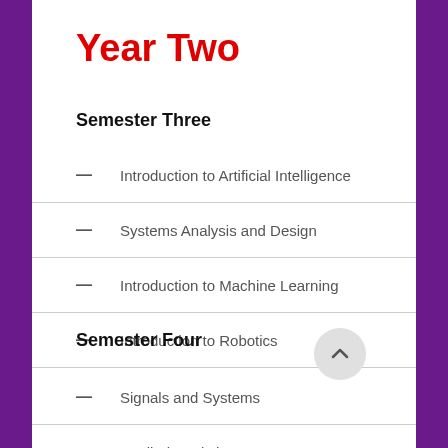Year Two
Semester Three
Introduction to Artificial Intelligence
Systems Analysis and Design
Introduction to Machine Learning
Introduction to Robotics
Calculus
Semester Four
Signals and Systems
Applied Statistics